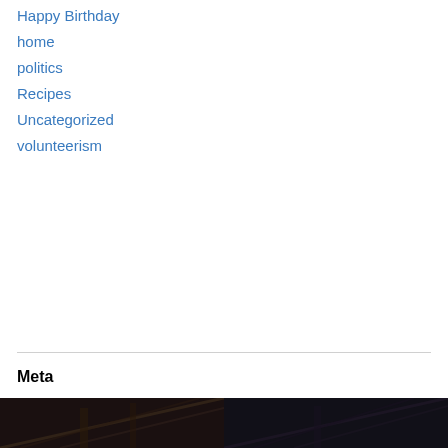Happy Birthday
home
politics
Recipes
Uncategorized
volunteerism
Meta
Register
Log in
Entries feed
Comments feed
WordPress.com
[Figure (photo): Two dark photos showing architectural/structural elements at the bottom of the page, split across two panels]